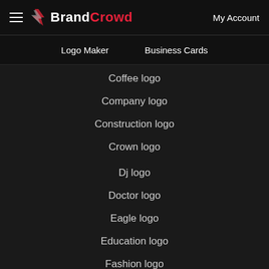BrandCrowd — My Account
Logo Maker    Business Cards
Coffee logo
Company logo
Construction logo
Crown logo
Dj logo
Doctor logo
Eagle logo
Education logo
Fashion logo
Font logo